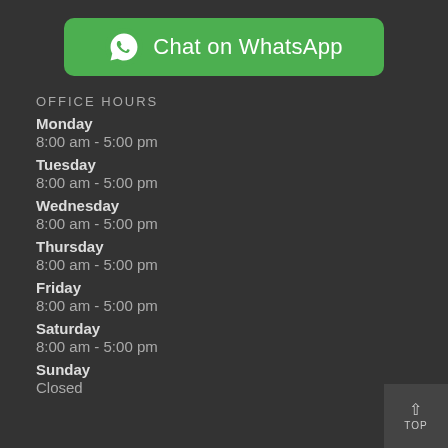[Figure (other): Green WhatsApp button with phone icon and text 'Chat on WhatsApp']
OFFICE HOURS
Monday
8:00 am - 5:00 pm
Tuesday
8:00 am - 5:00 pm
Wednesday
8:00 am - 5:00 pm
Thursday
8:00 am - 5:00 pm
Friday
8:00 am - 5:00 pm
Saturday
8:00 am - 5:00 pm
Sunday
Closed